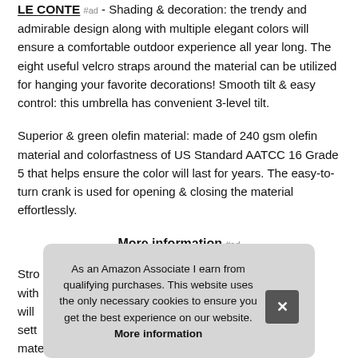LE CONTE #ad - Shading & decoration: the trendy and admirable design along with multiple elegant colors will ensure a comfortable outdoor experience all year long. The eight useful velcro straps around the material can be utilized for hanging your favorite decorations! Smooth tilt & easy control: this umbrella has convenient 3-level tilt.
Superior & green olefin material: made of 240 gsm olefin material and colorfastness of US Standard AATCC 16 Grade 5 that helps ensure the color will last for years. The easy-to-turn crank is used for opening & closing the material effortlessly.
More information #ad
Stro... with... will... sett... materials known for one of the greenest textiles with the
As an Amazon Associate I earn from qualifying purchases. This website uses the only necessary cookies to ensure you get the best experience on our website. More information